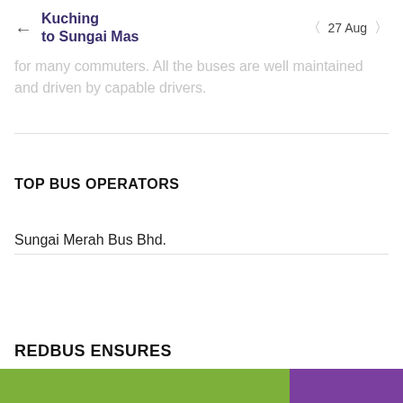← Kuching to Sungai Mas   < 27 Aug >
for many commuters. All the buses are well maintained and driven by capable drivers.
TOP BUS OPERATORS
Sungai Merah Bus Bhd.
REDBUS ENSURES
[Figure (other): Green and purple colored bars at the bottom of the page]